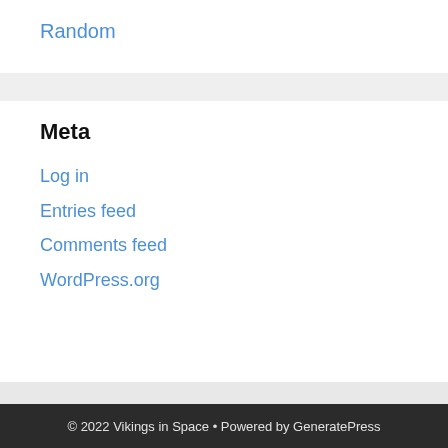Random
Meta
Log in
Entries feed
Comments feed
WordPress.org
© 2022 Vikings in Space • Powered by GeneratePress